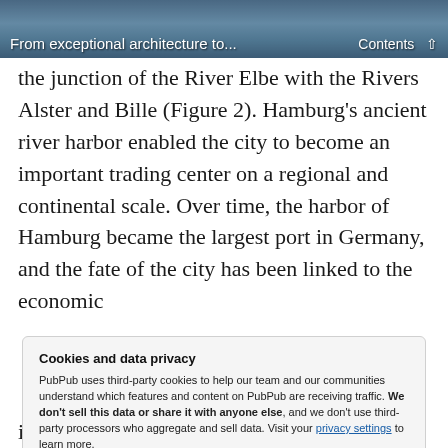From exceptional architecture to... Contents ↑
the junction of the River Elbe with the Rivers Alster and Bille (Figure 2). Hamburg's ancient river harbor enabled the city to become an important trading center on a regional and continental scale. Over time, the harbor of Hamburg became the largest port in Germany, and the fate of the city has been linked to the economic
Cookies and data privacy
PubPub uses third-party cookies to help our team and our communities understand which features and content on PubPub are receiving traffic. We don't sell this data or share it with anyone else, and we don't use third-party processors who aggregate and sell data. Visit your privacy settings to learn more.
[Accept] [Disable]
important identity marker for the city